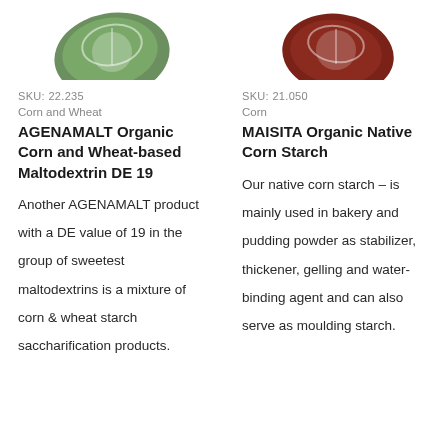[Figure (illustration): Green rounded leaf/bean shaped logo illustration for AGENAMALT product, top-left column]
[Figure (illustration): Dark red/brown rounded bean shaped logo illustration for MAISITA product, top-right column]
SKU:  22.235
Corn and Wheat
AGENAMALT Organic Corn and Wheat-based Maltodextrin DE 19
Another AGENAMALT product with a DE value of 19 in the group of sweetest maltodextrins is a mixture of corn & wheat starch saccharification products.
SKU:  21.050
Corn
MAISITA Organic Native Corn Starch
Our native corn starch – is mainly used in bakery and pudding powder as stabilizer, thickener, gelling and water-binding agent and can also serve as moulding starch.